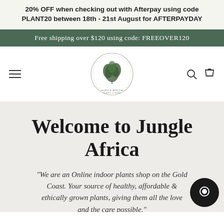20% OFF when checking out with Afterpay using code PLANT20 between 18th - 21st August for AFTERPAYDAY
Free shipping over $120 using code: FREEOVER120
[Figure (logo): Jungle Africa circular logo with plant illustration]
Welcome to Jungle Africa
"We are an Online indoor plants shop on the Gold Coast. Your source of healthy, affordable & ethically grown plants, giving them all the love and the care possible."